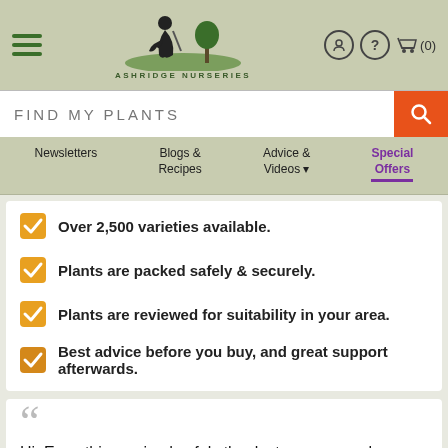[Figure (logo): Ashridge Nurseries logo with gardener silhouette and tree, with hamburger menu and header icons]
[Figure (screenshot): Search bar with FIND MY PLANTS placeholder and orange search button]
Newsletters | Blogs & Recipes | Advice & Videos | Special Offers
Over 2,500 varieties available.
Plants are packed safely & securely.
Plants are reviewed for suitability in your area.
Best advice before you buy, and great support afterwards.
Hi, Everything arrived safely thanks to your superb packing, I checked your planting video and both trees are now planted and looking very happy. Thanks, Paul
Paul Kelly